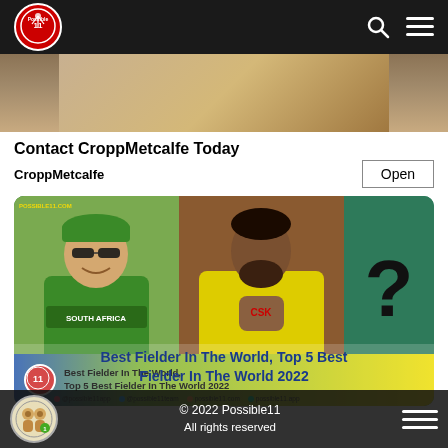Possible11
[Figure (photo): Cropped top of image showing partial view of a person]
Contact CroppMetcalfe Today
CroppMetcalfe   Open
[Figure (photo): Sports image: left photo of South Africa cricketer smiling in green jersey and sunglasses; center photo of Ravindra Jadeja in yellow CSK jersey; right panel with large question mark on teal background; bottom banner reads 'Best Fielder In The World, Top 5 Best Fielder In The World 2022']
Best Fielder In The World, Top 5 Best Fielder In The World 2022
© 2022 Possible11
All rights reserved